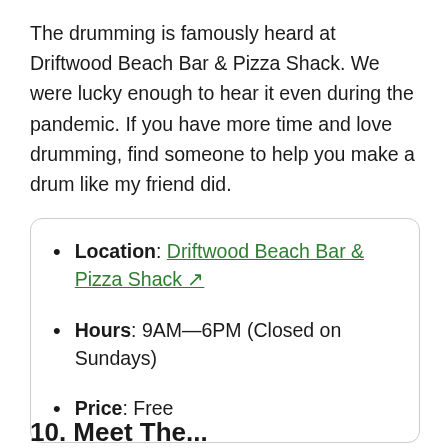The drumming is famously heard at Driftwood Beach Bar & Pizza Shack. We were lucky enough to hear it even during the pandemic. If you have more time and love drumming, find someone to help you make a drum like my friend did.
Location: Driftwood Beach Bar & Pizza Shack ↗
Hours: 9AM—6PM (Closed on Sundays)
Price: Free
10. Meet The...